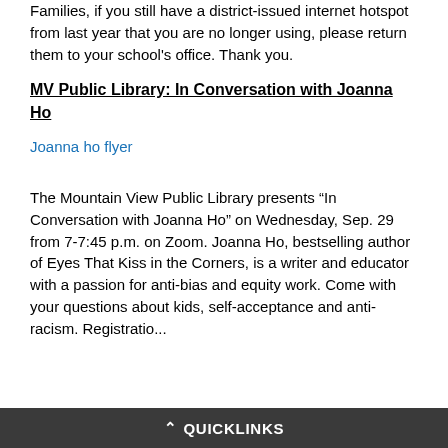Families, if you still have a district-issued internet hotspot from last year that you are no longer using, please return them to your school's office. Thank you.
MV Public Library: In Conversation with Joanna Ho
Joanna ho flyer
The Mountain View Public Library presents “In Conversation with Joanna Ho” on Wednesday, Sep. 29 from 7-7:45 p.m. on Zoom. Joanna Ho, bestselling author of Eyes That Kiss in the Corners, is a writer and educator with a passion for anti-bias and equity work. Come with your questions about kids, self-acceptance and anti-racism. Registratio...
QUICKLINKS